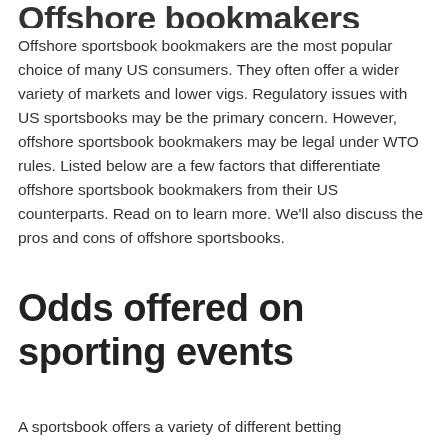Offshore bookmakers
Offshore sportsbook bookmakers are the most popular choice of many US consumers. They often offer a wider variety of markets and lower vigs. Regulatory issues with US sportsbooks may be the primary concern. However, offshore sportsbook bookmakers may be legal under WTO rules. Listed below are a few factors that differentiate offshore sportsbook bookmakers from their US counterparts. Read on to learn more. We’ll also discuss the pros and cons of offshore sportsbooks.
Odds offered on sporting events
A sportsbook offers a variety of different betting